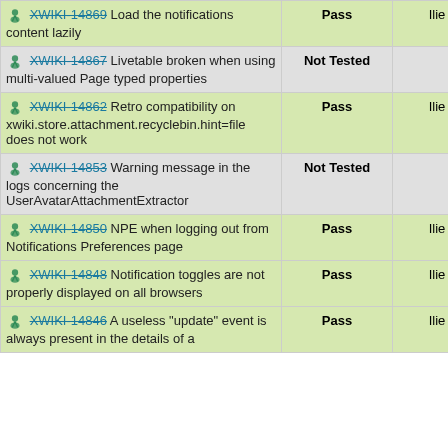| Issue | Status | Tester |
| --- | --- | --- |
| 🏃 XWIKI-14869  Load the notifications content lazily | Pass | Ilie |
| 🏃 XWIKI-14867  Livetable broken when using multi-valued Page typed properties | Not Tested |  |
| 🏃 XWIKI-14862  Retro compatibility on xwiki.store.attachment.recyclebin.hint=file does not work | Pass | Ilie |
| 🏃 XWIKI-14853  Warning message in the logs concerning the UserAvatarAttachmentExtractor | Not Tested |  |
| 🏃 XWIKI-14850  NPE when logging out from Notifications Preferences page | Pass | Ilie |
| 🏃 XWIKI-14848  Notification toggles are not properly displayed on all browsers | Pass | Ilie |
| 🏃 XWIKI-14846  A useless "update" event is always present in the details of a | Pass | Ilie |